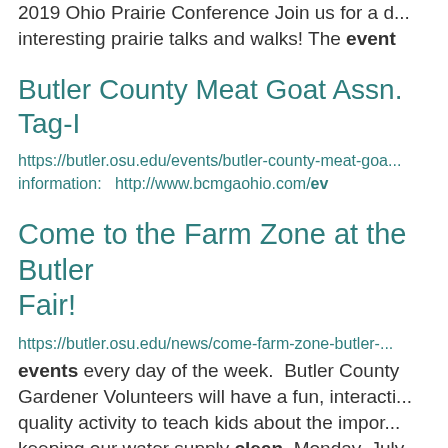2019 Ohio Prairie Conference Join us for a d... interesting prairie talks and walks! The event
Butler County Meat Goat Assn. Tag-I
https://butler.osu.edu/events/butler-county-meat-goa... information:   http://www.bcmgaohio.com/ev
Come to the Farm Zone at the Butler Fair!
https://butler.osu.edu/news/come-farm-zone-butler-... events every day of the week.  Butler County Gardener Volunteers will have a fun, interacti... quality activity to teach kids about the impor... keeping our water supply clean. Monday, July... and bubbles like soap, and can be made in...